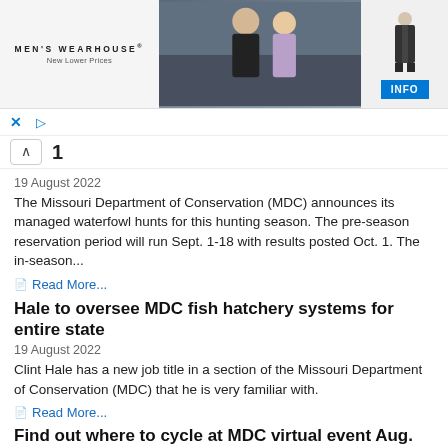[Figure (other): Men's Wearhouse advertisement banner with couple in formal wear and a man in suit, with INFO button]
× ▷
^ 1
19 August 2022
The Missouri Department of Conservation (MDC) announces its managed waterfowl hunts for this hunting season. The pre-season reservation period will run Sept. 1-18 with results posted Oct. 1. The in-season...
Read More...
Hale to oversee MDC fish hatchery systems for entire state
19 August 2022
Clint Hale has a new job title in a section of the Missouri Department of Conservation (MDC) that he is very familiar with.
Read More...
Find out where to cycle at MDC virtual event Aug. 30